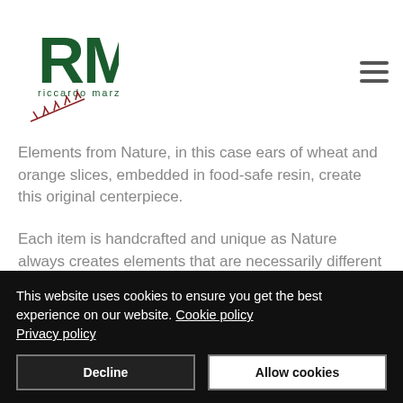[Figure (logo): RM Riccardo Marzi logo — dark green letters RM with red wheat/fern decorative element below]
Elements from Nature, in this case ears of wheat and orange slices, embedded in food-safe resin, create this original centerpiece.
Each item is handcrafted and unique as Nature always creates elements that are necessarily different from each other.
This website uses cookies to ensure you get the best experience on our website. Cookie policy Privacy policy
Decline
Allow cookies